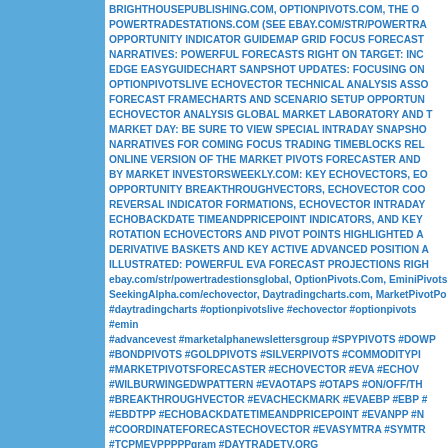BRIGHTHOUSEPUBLISHING.COM, OPTIONPIVOTS.COM, THE O POWERTRADESTATIONS.COM (SEE EBAY.COM/STR/POWERTRA OPPORTUNITY INDICATOR GUIDEMAP GRID FOCUS FORECAST NARRATIVES: POWERFUL FORECASTS RIGHT ON TARGET: INC EDGE EASYGUIDECHART SANPSHOT UPDATES: FOCUSING ON OPTIONPIVOTSLIVE ECHOVECTOR TECHNICAL ANALYSIS ASSO FORECAST FRAMECHARTS AND SCENARIO SETUP OPPORTUN ECHOVECTOR ANALYSIS GLOBAL MARKET LABORATORY AND MARKET DAY: BE SURE TO VIEW SPECIAL INTRADAY SNAPSHO NARRATIVES FOR COMING FOCUS TRADING TIMEBLOCKS REL ONLINE VERSION OF THE MARKET PIVOTS FORECASTER AND BY MARKET INVESTORSWEEKLY.COM: KEY ECHOVECTORS, EO OPPORTUNITY BREAKTHROUGHVECTORS, ECHOVECTOR COO REVERSAL INDICATOR FORMATIONS, ECHOVECTOR INTRADAY ECHOBACKDATE TIMEANDPRICEPOINT INDICATORS, AND KEY ROTATION ECHOVECTORS AND PIVOT POINTS HIGHLIGHTED A DERIVATIVE BASKETS AND KEY ACTIVE ADVANCED POSITION A ILLUSTRATED: POWERFUL EVA FORECAST PROJECTIONS RIGH ebay.com/str/powertradestionsglobal, OptionPivots.Com, EminiPivots SeekingAlpha.com/echovector, Daytradingcharts.com, MarketPivotPo #daytradingcharts #optionpivotslive #echovector #optionpivots #emin #advancevest #marketalphanewslettersgroup #SPYPIVOTS #DOWP #BONDPIVOTS #GOLDPIVOTS #SILVERPIVOTS #COMMODITYPI #MARKETPIVOTSFORECASTER #ECHOVECTOR #EVA #ECHOVI #WILBURWINGEDWPATTERN #EVAOTAPS #OTAPS #ON/OFF/TH #BREAKTHROUGHVECTOR #EVACHECKMARK #EVAEBP #EBP # #EBDTPP #ECHOBACKDATETIMEANDPRICEPOINT #EVANPP #N #COORDINATEFORECASTECHOVECTOR #EVASYMTRA #SYMTR #TCPMEVPPPPPgram #DAYTRADETV.ORG #TIMECYCLEPRICE(SLOPE)MOMENTUMECHOVECTORPIVOTPO #GLOBALPOSITIONROLLINGPOSTER #SPEI/DAYTRADESTOCKE